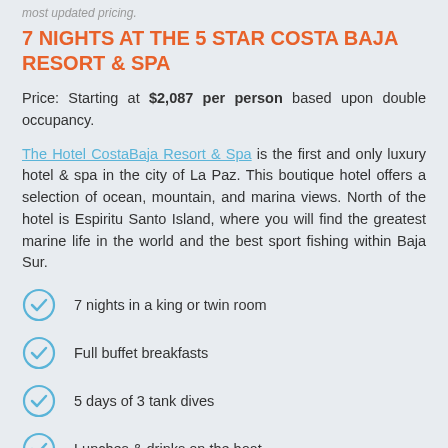most updated pricing.
7 NIGHTS AT THE 5 STAR COSTA BAJA RESORT & SPA
Price: Starting at $2,087 per person based upon double occupancy.
The Hotel CostaBaja Resort & Spa is the first and only luxury hotel & spa in the city of La Paz. This boutique hotel offers a selection of ocean, mountain, and marina views. North of the hotel is Espiritu Santo Island, where you will find the greatest marine life in the world and the best sport fishing within Baja Sur.
7 nights in a king or twin room
Full buffet breakfasts
5 days of 3 tank dives
Lunches & drinks on the boat